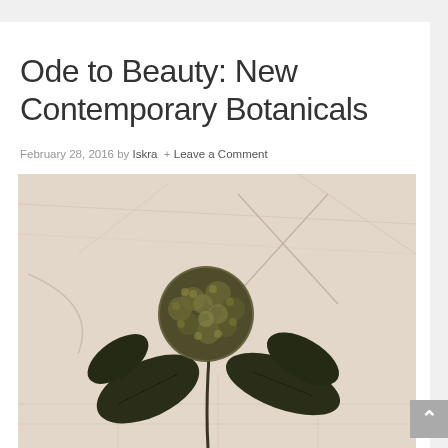Ode to Beauty: New Contemporary Botanicals
February 28, 2016 by Iskra  + Leave a Comment
[Figure (photo): A botanical artwork showing a dried or pressed hydrangea flower with dark green leaves against a pale beige/cream textured background with faint pencil or scratch mark lines forming an X pattern in the upper portion of the image.]